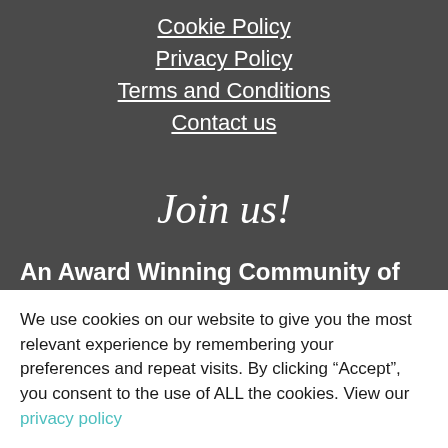Cookie Policy
Privacy Policy
Terms and Conditions
Contact us
Join us!
An Award Winning Community of British
We use cookies on our website to give you the most relevant experience by remembering your preferences and repeat visits. By clicking “Accept”, you consent to the use of ALL the cookies. View our privacy policy
Cookie settings   ACCEPT